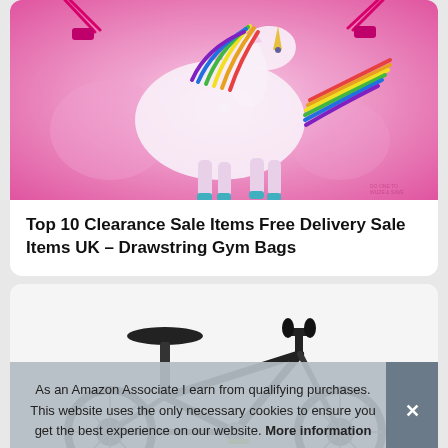[Figure (photo): Pink drawstring gym bag with a white unicorn design and rainbow mane printed on it, with pink drawstrings visible at the top corners.]
Top 10 Clearance Sale Items Free Delivery Sale Items UK – Drawstring Gym Bags
[Figure (photo): Partial view of a black mountain bicycle showing the saddle, handlebar, and front wheel area on a light background.]
As an Amazon Associate I earn from qualifying purchases. This website uses the only necessary cookies to ensure you get the best experience on our website. More information